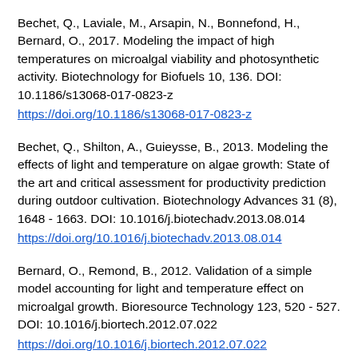Bechet, Q., Laviale, M., Arsapin, N., Bonnefond, H., Bernard, O., 2017. Modeling the impact of high temperatures on microalgal viability and photosynthetic activity. Biotechnology for Biofuels 10, 136. DOI: 10.1186/s13068-017-0823-z https://doi.org/10.1186/s13068-017-0823-z
Bechet, Q., Shilton, A., Guieysse, B., 2013. Modeling the effects of light and temperature on algae growth: State of the art and critical assessment for productivity prediction during outdoor cultivation. Biotechnology Advances 31 (8), 1648 - 1663. DOI: 10.1016/j.biotechadv.2013.08.014 https://doi.org/10.1016/j.biotechadv.2013.08.014
Bernard, O., Remond, B., 2012. Validation of a simple model accounting for light and temperature effect on microalgal growth. Bioresource Technology 123, 520 - 527. DOI: 10.1016/j.biortech.2012.07.022 https://doi.org/10.1016/j.biortech.2012.07.022